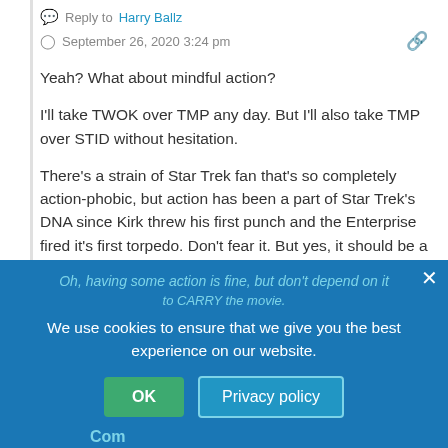Reply to Harry Ballz
September 26, 2020 3:24 pm
Yeah? What about mindful action?
I'll take TWOK over TMP any day. But I'll also take TMP over STID without hesitation.
There's a strain of Star Trek fan that's so completely action-phobic, but action has been a part of Star Trek's DNA since Kirk threw his first punch and the Enterprise fired it's first torpedo. Don't fear it. But yes, it should be a judicious part of a good story.
Harry Ballz
Reply to Mudds Harry
September 26, 2020 6:10 pm
Oh, having some action is fine, but don't depend on it to CARRY the movie.
We use cookies to ensure that we give you the best experience on our website.
OK
Privacy policy